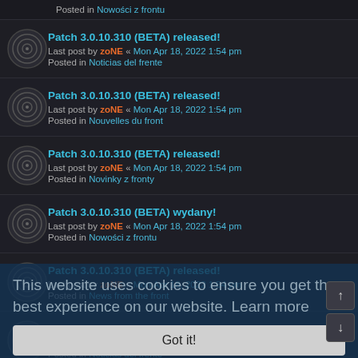Posted in Nowości z frontu
Patch 3.0.10.310 (BETA) released! Last post by zoNE « Mon Apr 18, 2022 1:54 pm Posted in Noticias del frente
Patch 3.0.10.310 (BETA) released! Last post by zoNE « Mon Apr 18, 2022 1:54 pm Posted in Nouvelles du front
Patch 3.0.10.310 (BETA) released! Last post by zoNE « Mon Apr 18, 2022 1:54 pm Posted in Novinky z fronty
Patch 3.0.10.310 (BETA) wydany! Last post by zoNE « Mon Apr 18, 2022 1:54 pm Posted in Nowości z frontu
Patch 3.0.10.310 (BETA) released! Last post by zoNE « Mon Apr 18, 2022 1:54 pm Posted in News from the front
Calendar for 2022 Last post by zoNE « Sat Apr 16, 2022 10:48 pm Posted in Noticias del frente
This website uses cookies to ensure you get the best experience on our website. Learn more
Got it!